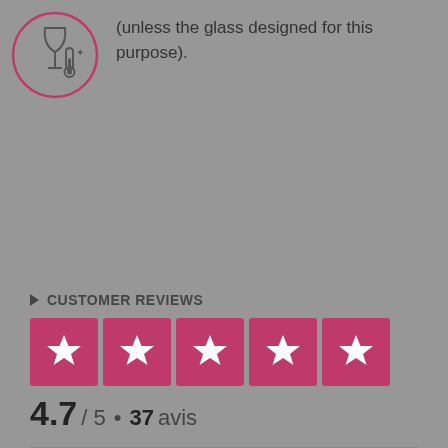[Figure (illustration): A circular icon with a wine glass and thermometer symbol, outlined in red/dark pink, on a gray background]
(unless the glass designed for this purpose).
CUSTOMER REVIEWS
[Figure (infographic): 5 pink/red star rating boxes with white stars, rating display]
[Figure (logo): Trustpilot logo with green star]
4.7 / 5 • 37 avis
bégué, Il y a 2 jours
[Figure (infographic): 4 pink/red star rating boxes with white stars for review]